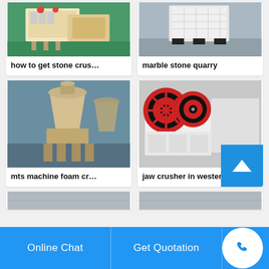[Figure (photo): Industrial stone crusher machine in factory setting]
how to get stone crus…
[Figure (photo): Marble stone quarry equipment - large white industrial machine]
marble stone quarry
[Figure (photo): MTS machine foam crusher - beige cone crusher in factory]
mts machine foam cr…
[Figure (photo): Jaw crusher in western setting - red and white jaw crusher machine]
jaw crusher in wester…
[Figure (photo): Partially visible cards in bottom row]
Online Chat | Get Quotation